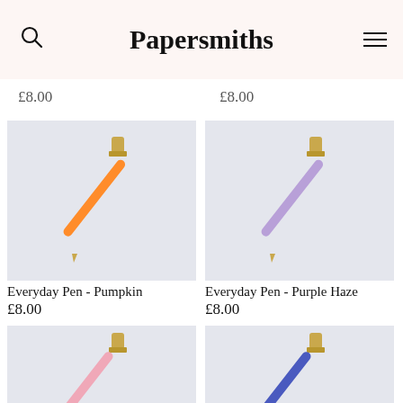Papersmiths
£8.00
£8.00
[Figure (photo): Orange/pumpkin colored everyday pen with gold tip on light grey background]
Everyday Pen - Pumpkin
£8.00
[Figure (photo): Purple Haze colored everyday pen with gold tip on light grey background]
Everyday Pen - Purple Haze
£8.00
[Figure (photo): Pink colored everyday pen with gold tip on light grey background]
[Figure (photo): Blue colored everyday pen with gold tip on light grey background]